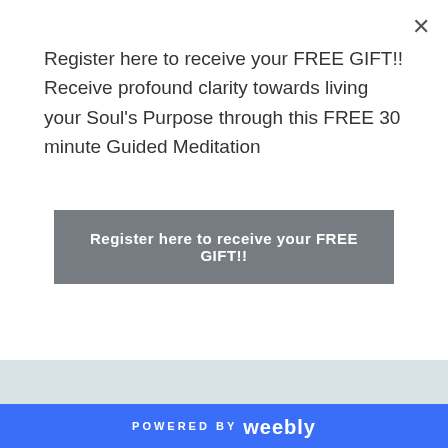Register here to receive your FREE GIFT!! Receive profound clarity towards living your Soul's Purpose through this FREE 30 minute Guided Meditation
Register here to receive your FREE GIFT!!
AWAKENING WOMEN TO RISE FROM THE ASHES OF LIMITATION & TURN DARKNESS INTO LIFE.
COMING SOON
POWERED BY weebly